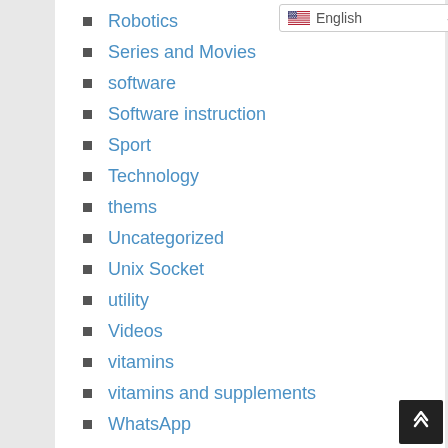Robotics
Series and Movies
software
Software instruction
Sport
Technology
thems
Uncategorized
Unix Socket
utility
Videos
vitamins
vitamins and supplements
WhatsApp